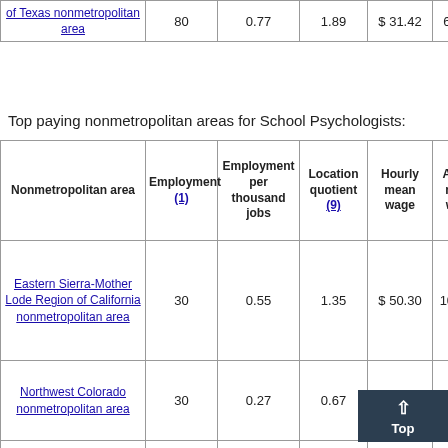| Nonmetropolitan area | Employment (1) | Employment per thousand jobs | Location quotient (9) | Hourly mean wage | An m w |
| --- | --- | --- | --- | --- | --- |
| of Texas nonmetropolitan area | 80 | 0.77 | 1.89 | $ 31.42 | 65 |
| Eastern Sierra-Mother Lode Region of California nonmetropolitan area | 30 | 0.55 | 1.35 | $ 50.30 | 104 |
| Northwest Colorado nonmetropolitan area | 30 | 0.27 | 0.67 | $ 47.94 |  |
| Southwest Colorado nonmetropolitan area |  |  |  |  |  |
Top paying nonmetropolitan areas for School Psychologists: